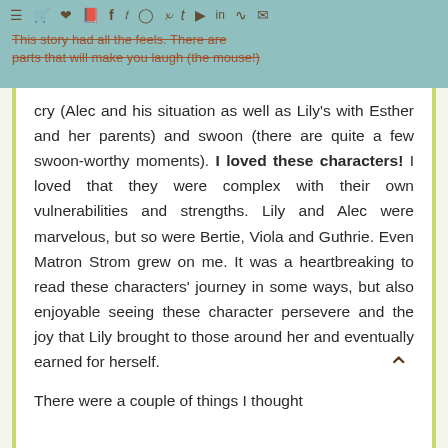This story had all the feels. There are parts that will make you laugh (the mouse!)
cry (Alec and his situation as well as Lily's with Esther and her parents) and swoon (there are quite a few swoon-worthy moments). I loved these characters! I loved that they were complex with their own vulnerabilities and strengths. Lily and Alec were marvelous, but so were Bertie, Viola and Guthrie. Even Matron Strom grew on me. It was a heartbreaking to read these characters' journey in some ways, but also enjoyable seeing these character persevere and the joy that Lily brought to those around her and eventually earned for herself.
There were a couple of things I thought